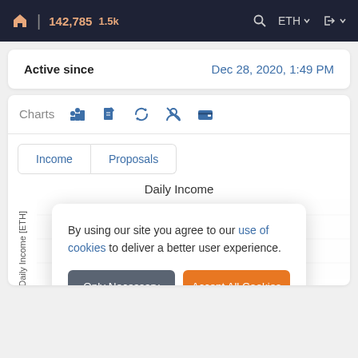142,785  1.5k  ETH
| Field | Value |
| --- | --- |
| Active since | Dec 28, 2020, 1:49 PM |
Charts
Income | Proposals
Daily Income
[Figure (other): Daily Income chart area with y-axis label 'Daily Income [ETH]', partially obscured by cookie consent overlay]
By using our site you agree to our use of cookies to deliver a better user experience.
Only Necessary | Accept All Cookies